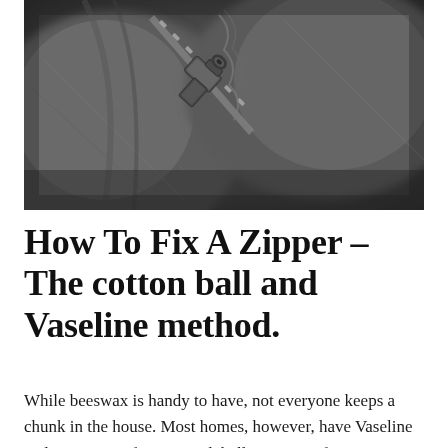[Figure (photo): Close-up photograph of a dark grey zipper on a sweatshirt or hoodie fabric, showing the zipper pull and teeth in detail with bokeh background]
How To Fix A Zipper – The cotton ball and Vaseline method.
While beeswax is handy to have, not everyone keeps a chunk in the house. Most homes, however, have Vaseline and some sort of cotton pad, ball, or piece of